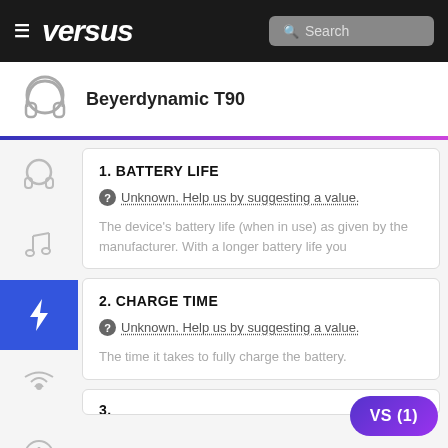versus — Search
Beyerdynamic T90
1. BATTERY LIFE
Unknown. Help us by suggesting a value.
The device's battery life (when in use) as given by the manufacturer. With a longer battery life you
2. CHARGE TIME
Unknown. Help us by suggesting a value.
The time it takes to fully charge the battery.
3.